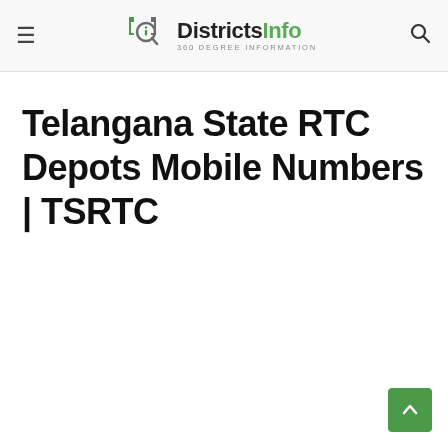DistrictsInfo — 360 DEGREE INFORMATION
Telangana State RTC Depots Mobile Numbers | TSRTC